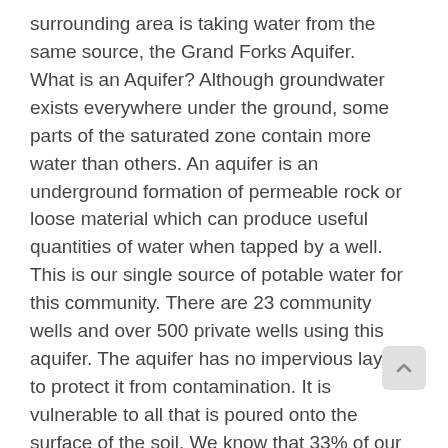surrounding area is taking water from the same source, the Grand Forks Aquifer. What is an Aquifer? Although groundwater exists everywhere under the ground, some parts of the saturated zone contain more water than others. An aquifer is an underground formation of permeable rock or loose material which can produce useful quantities of water when tapped by a well. This is our single source of potable water for this community. There are 23 community wells and over 500 private wells using this aquifer. The aquifer has no impervious layer to protect it from contamination. It is vulnerable to all that is poured onto the surface of the soil. We know that 33% of our aquifer is contaminated. No community water systems (including irrigation districts and mobile home parks) have been negatively impacted at this time. But why wait for it to happen? In 1996 our aquifer was rated by the Ministry of Environment as A1 (highly productive and